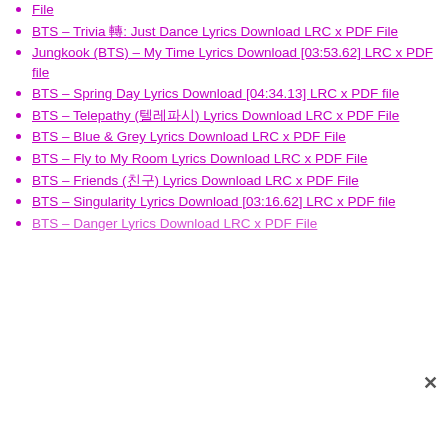File
BTS – Trivia 轉: Just Dance Lyrics Download LRC x PDF File
Jungkook (BTS) – My Time Lyrics Download [03:53.62] LRC x PDF file
BTS – Spring Day Lyrics Download [04:34.13] LRC x PDF file
BTS – Telepathy (telepathy) Lyrics Download LRC x PDF File
BTS – Blue & Grey Lyrics Download LRC x PDF File
BTS – Fly to My Room Lyrics Download LRC x PDF File
BTS – Friends (friends) Lyrics Download LRC x PDF File
BTS – Singularity Lyrics Download [03:16.62] LRC x PDF file
BTS – Danger Lyrics Download LRC x PDF File